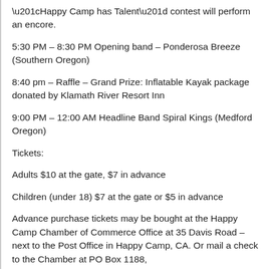“Happy Camp has Talent” contest will perform an encore.
5:30 PM – 8:30 PM Opening band – Ponderosa Breeze (Southern Oregon)
8:40 pm – Raffle – Grand Prize: Inflatable Kayak package donated by Klamath River Resort Inn
9:00 PM – 12:00 AM Headline Band Spiral Kings (Medford Oregon)
Tickets:
Adults $10 at the gate, $7 in advance
Children (under 18) $7 at the gate or $5 in advance
Advance purchase tickets may be bought at the Happy Camp Chamber of Commerce Office at 35 Davis Road – next to the Post Office in Happy Camp, CA. Or mail a check to the Chamber at PO Box 1188, Happy Camp, CA 96039 and we will mail the tickets to you.